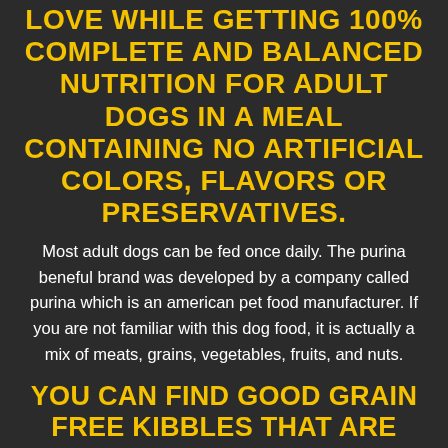LOVE WHILE GETTING 100% COMPLETE AND BALANCED NUTRITION FOR ADULT DOGS IN A MEAL CONTAINING NO ARTIFICIAL COLORS, FLAVORS OR PRESERVATIVES.
Most adult dogs can be fed once daily. The purina beneful brand was developed by a company called purina which is an american pet food manufacturer. If you are not familiar with this dog food, it is actually a mix of meats, grains, vegetables, fruits, and nuts.
YOU CAN FIND GOOD GRAIN FREE KIBBLES THAT ARE LOW IN CARBOHYDRATES BUT DON'T ASSUME THAT ALL GRAIN FREE DOG FOODS ARE LOW IN CARBS JUST BECAUSE THEY DON'T HAVE GRAINS.